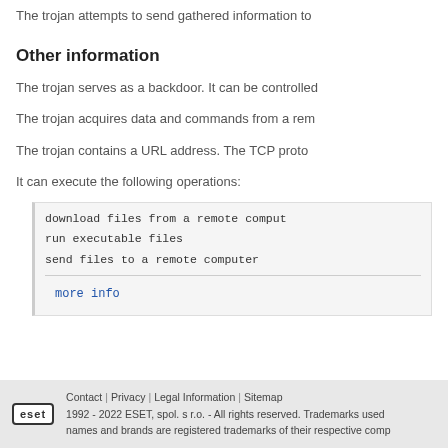The trojan attempts to send gathered information to
Other information
The trojan serves as a backdoor. It can be controlled
The trojan acquires data and commands from a rem
The trojan contains a URL address. The TCP proto
It can execute the following operations:
[Figure (other): Code block listing: download files from a remote comput, run executable files, send files to a remote computer, more info link]
Contact | Privacy | Legal Information | Sitemap
1992 - 2022 ESET, spol. s r.o. - All rights reserved. Trademarks used
names and brands are registered trademarks of their respective comp